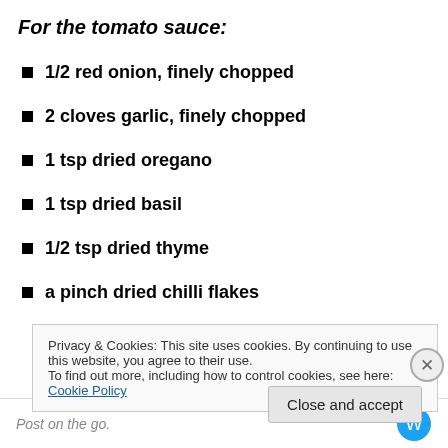For the tomato sauce:
1/2 red onion, finely chopped
2 cloves garlic, finely chopped
1 tsp dried oregano
1 tsp dried basil
1/2 tsp dried thyme
a pinch dried chilli flakes
1 tin (400 gr) chopped tomatoes
1 tbsp tomato paste
a squeeze of honey
Privacy & Cookies: This site uses cookies. By continuing to use this website, you agree to their use.
To find out more, including how to control cookies, see here: Cookie Policy
Post on the go.